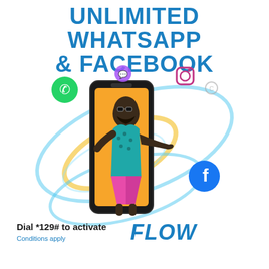UNLIMITED WHATSAPP & FACEBOOK
[Figure (illustration): A man in a colorful tropical shirt and pink shorts stepping out of a smartphone screen, surrounded by social media icons (WhatsApp, Instagram, Facebook, messaging icons) with blue and gold swirl light effects around the phone.]
Dial *129# to activate
Conditions apply
[Figure (logo): FLOW logo in bold blue italic text]